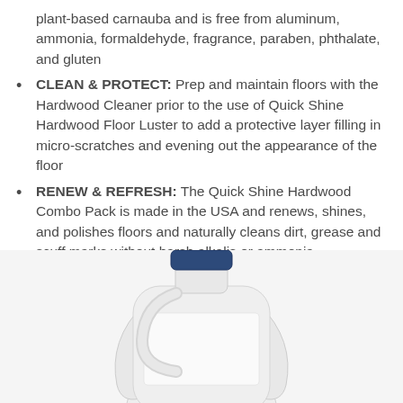plant-based carnauba and is free from aluminum, ammonia, formaldehyde, fragrance, paraben, phthalate, and gluten
CLEAN & PROTECT: Prep and maintain floors with the Hardwood Cleaner prior to the use of Quick Shine Hardwood Floor Luster to add a protective layer filling in micro-scratches and evening out the appearance of the floor
RENEW & REFRESH: The Quick Shine Hardwood Combo Pack is made in the USA and renews, shines, and polishes floors and naturally cleans dirt, grease and scuff marks without harsh alkalis or ammonia
SAFER CHOICE: Recognized by the U. S. EPA Safer Choice Program - safer for kids & pets
[Figure (photo): White plastic bottle with a dark blue cap, shown partially at the bottom of the page]